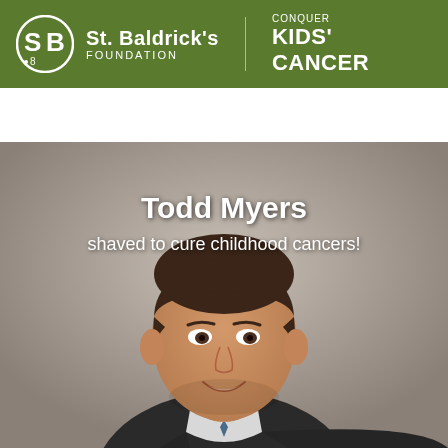[Figure (logo): St. Baldrick's Foundation logo with 'Conquer Kids' Cancer' tagline on green header bar]
MENU | Search for people or events...
[Figure (photo): Photo of Todd Myers, a man in a dark suit smiling at the camera]
Todd Myers
shaved to cure childhood cancers!